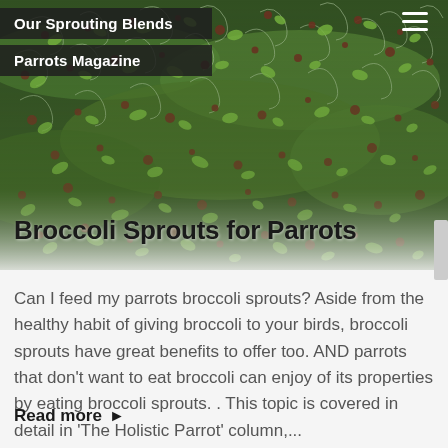[Figure (photo): Close-up macro photograph of broccoli sprouts — dense green and reddish-brown germinated seeds with small curling white roots, filling the entire hero area of the page.]
Our Sprouting Blends
Parrots Magazine
Broccoli Sprouts for Parrots
Can I feed my parrots broccoli sprouts? Aside from the healthy habit of giving broccoli to your birds, broccoli sprouts have great benefits to offer too. AND parrots that don’t want to eat broccoli can enjoy of its properties by eating broccoli sprouts. . This topic is covered in detail in ‘The Holistic Parrot’ column,...
Read more ►